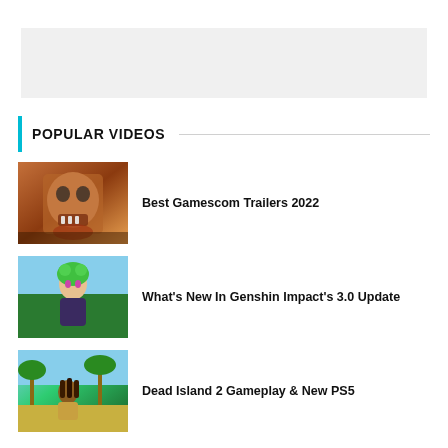[Figure (other): Gray advertisement banner placeholder]
POPULAR VIDEOS
[Figure (photo): Zombie face close-up from Dead Island 2 or similar zombie game]
Best Gamescom Trailers 2022
[Figure (photo): Anime character with green hair from Genshin Impact]
What's New In Genshin Impact's 3.0 Update
[Figure (photo): Character with dreadlocks in tropical setting from Dead Island 2]
Dead Island 2 Gameplay & New PS5